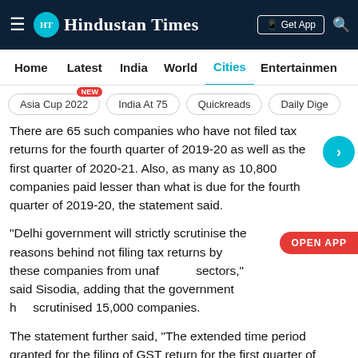Hindustan Times
Home | Latest | India | World | Cities | Entertainment
Asia Cup 2022 NEW
India At 75
Quickreads
Daily Dige
There are 65 such companies who have not filed tax returns for the fourth quarter of 2019-20 as well as the first quarter of 2020-21. Also, as many as 10,800 companies paid lesser than what is due for the fourth quarter of 2019-20, the statement said.
“Delhi government will strictly scrutinise the reasons behind not filing tax returns by these companies from unaf... sectors,” said Sisodia, adding that the government h... scrutinised 15,000 companies.
The statement further said, “The extended time period granted for the filing of GST return for the first quarter of 2020-21 got over in July 2020. The Delhi government is also identifying the taxpayers evading tax. The department has been able to